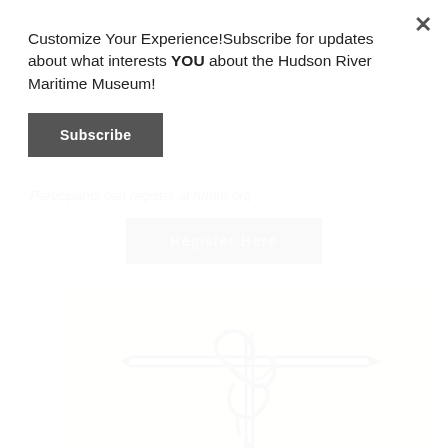Customize Your Experience!Subscribe for updates about what interests YOU about the Hudson River Maritime Museum!
Subscribe
Participants can register at hrmm.org
Register Here
[Figure (illustration): Vintage engraving-style illustration of a nautical rope knot tied around a horizontal spar or belaying pin on a cream/tan background.]